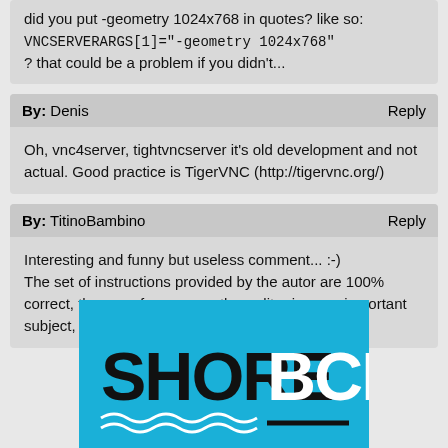did you put -geometry 1024x768 in quotes? like so:
VNCSERVERARGS[1]="-geometry 1024x768"
? that could be a problem if you didn't...
By: Denis   Reply
Oh, vnc4server, tightvncserver it's old development and not actual. Good practice is TigerVNC (http://tigervnc.org/)
By: TitinoBambino   Reply
Interesting and funny but useless comment... :-)
The set of instructions provided by the autor are 100% correct, the use of one or another editor is an unimportant subject, it doesn't actually matter what
[Figure (logo): SHORE BCN logo on cyan/blue background with wave decoration]